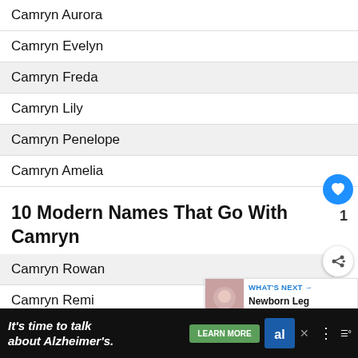Camryn Aurora
Camryn Evelyn
Camryn Freda
Camryn Lily
Camryn Penelope
Camryn Amelia
10 Modern Names That Go With Camryn
Camryn Rowan
Camryn Remi
Camryn Jules
[Figure (other): WHAT'S NEXT arrow label with thumbnail image and text: Newborn Leg Shaking: Wh...]
[Figure (other): Advertisement banner: It's time to talk about Alzheimer's. LEARN MORE button, Alzheimer's Association logo, close button]